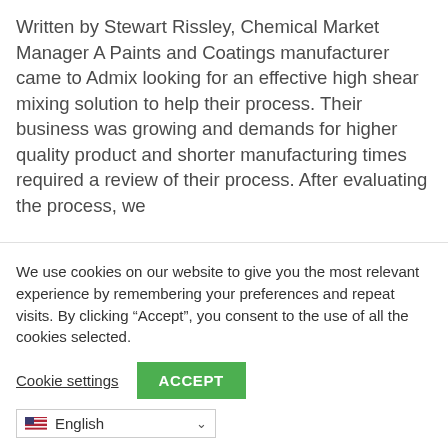Written by Stewart Rissley, Chemical Market Manager A Paints and Coatings manufacturer came to Admix looking for an effective high shear mixing solution to help their process. Their business was growing and demands for higher quality product and shorter manufacturing times required a review of their process. After evaluating the process, we
We use cookies on our website to give you the most relevant experience by remembering your preferences and repeat visits. By clicking “Accept”, you consent to the use of all the cookies selected.